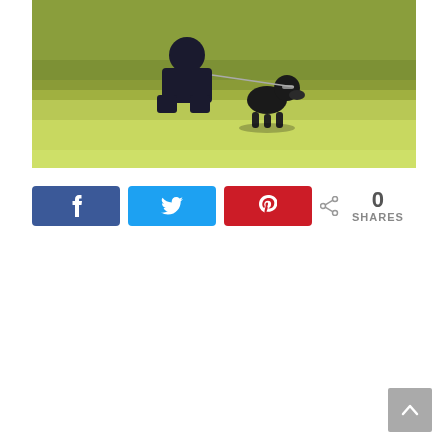[Figure (photo): A black dog running on grass toward the camera, with a person crouching in the background. Outdoor scene on green/yellow grass.]
[Figure (infographic): Social sharing buttons: Facebook (blue, f icon), Twitter (cyan, bird icon), Pinterest (red, P icon), and a share count showing 0 SHARES with a share icon.]
[Figure (other): Scroll-to-top button (grey rounded square with upward chevron arrow) in the bottom-right corner.]